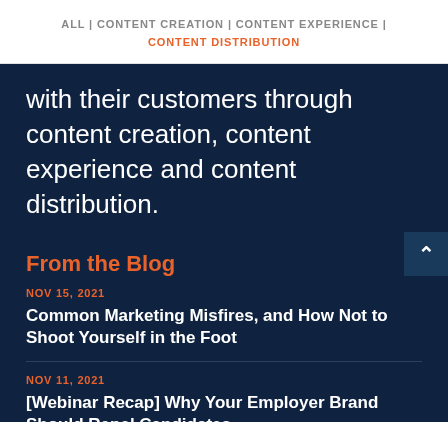ALL | CONTENT CREATION | CONTENT EXPERIENCE | CONTENT DISTRIBUTION
with their customers through content creation, content experience and content distribution.
From the Blog
NOV 15, 2021
Common Marketing Misfires, and How Not to Shoot Yourself in the Foot
NOV 11, 2021
[Webinar Recap] Why Your Employer Brand Should Repel Candidates